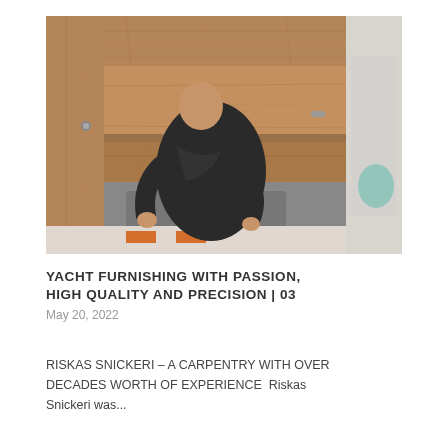[Figure (photo): A man in a dark jacket leaning inside a wooden yacht cabinet/cabinetry interior with walnut wood paneling and shelving. A sink and faucet are visible below, and a colorful floor tile is at the bottom. The cabinet doors are open. There is a teal/green decorative element partially visible on the right edge.]
YACHT FURNISHING WITH PASSION, HIGH QUALITY AND PRECISION | 03
May 20, 2022
RISKAS SNICKERI – A CARPENTRY WITH OVER DECADES WORTH OF EXPERIENCE  Riskas Snickeri was...